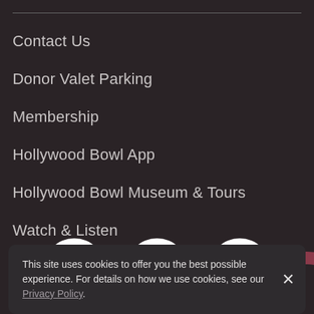Contact Us
Donor Valet Parking
Membership
Hollywood Bowl App
Hollywood Bowl Museum & Tours
Watch & Listen
[Figure (other): Three social media icons (Facebook, Twitter, Instagram) as white circles on dark background]
This site uses cookies to offer you the best possible experience. For details on how we use cookies, see our Privacy Policy.